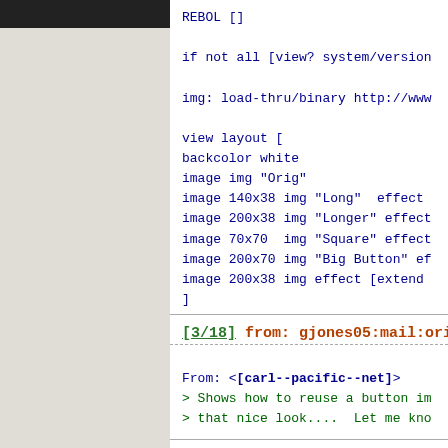[Figure (screenshot): Left navigation panel with dark bar at top and gray background]
REBOL []

if not all [view? system/version

img: load-thru/binary http://www

view layout [
backcolor white
image img "Orig"
image 140x38 img "Long" effect
image 200x38 img "Longer" effect
image 70x70 img "Square" effect
image 200x70 img "Big Button" ef
image 200x38 img effect [extend
]
[3/18] from: gjones05:mail:orio
From: <[carl--pacific--net]>
> Shows how to reuse a button im
> that nice look....  Let me kno

I am continuously amazed at what
Yes, works fine on Win98.
--Scott Jones